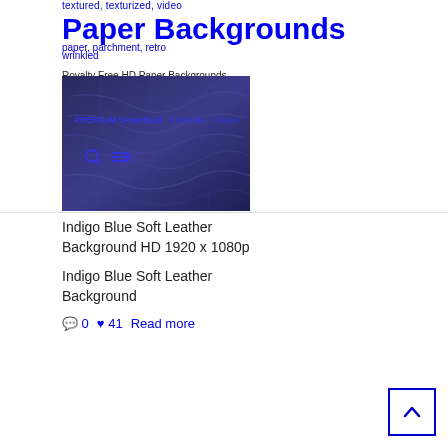textured, texturized, video
Paper Backgrounds
paper, parchment, retro
wrinkled
Royalty Free HD Paper Backgrounds
[Figure (photo): Indigo blue soft leather texture background photo, dark blue crumpled fabric surface]
PREMIUM Download   Freebies   About
🔍  ☰+
Indigo Blue Soft Leather Background HD 1920 x 1080p
Indigo Blue Soft Leather Background
💬 0   ♥ 41   Read more